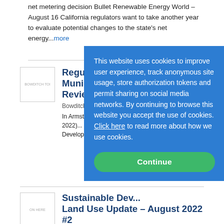net metering decision Bullet Renewable Energy World – August 16 California regulators want to take another year to evaluate potential changes to the state's net energy...more
[Figure (other): Thumbnail image placeholder for article about Regulation of Municipal Harbor]
Regulation of Municipal Harbor Reviewed
Bowditch & Dewey on 8/19...
In Armstrong v. Sec'y Energy... 13210 (Mass. July 12, 2022)... Court (SJC) invalidated the ... and Development Agency's ... the Harbor Garage...more
[Figure (other): Cookie consent modal overlay with text and Continue button]
[Figure (other): Thumbnail image placeholder for Sustainable Development Land Use Update article]
Sustainable Development Land Use Update – August 2022 #2